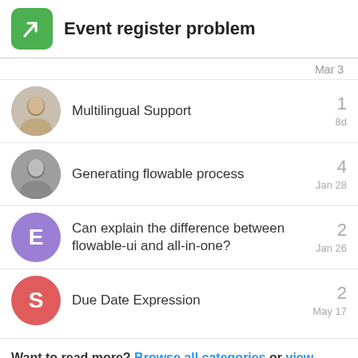Event register problem
Mar 3
Multilingual Support — 1 reply — 8d
Generating flowable process — 4 replies — Jan 28
Can explain the difference between flowable-ui and all-in-one? — 2 replies — Jan 26
Due Date Expression — 2 replies — May 17
Want to read more? Browse all categories or view latest topics.